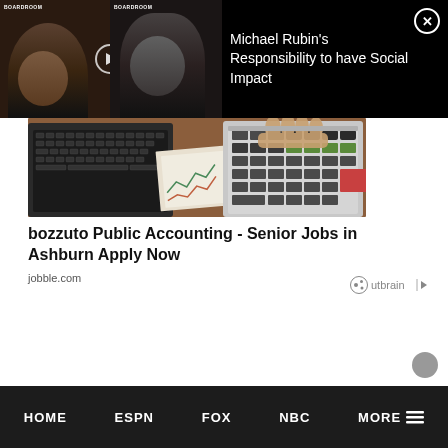[Figure (screenshot): Video overlay ad showing two men from Boardroom video, with title 'Michael Rubin's Responsibility to have Social Impact' and a close button]
[Figure (photo): Photo of hands typing on calculator with financial papers and laptop keyboard in background — advertisement image for accounting jobs]
bozzuto Public Accounting - Senior Jobs in Ashburn Apply Now
jobble.com
[Figure (logo): Outbrain logo with icon]
HOME   ESPN   FOX   NBC   MORE